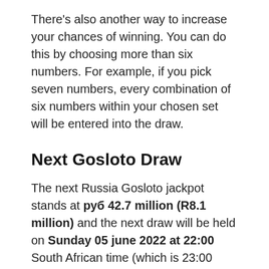There’s also another way to increase your chances of winning. You can do this by choosing more than six numbers. For example, if you pick seven numbers, every combination of six numbers within your chosen set will be entered into the draw.
Next Gosloto Draw
The next Russia Gosloto jackpot stands at руб 42.7 million (R8.1 million) and the next draw will be held on Sunday 05 june 2022 at 22:00 South African time (which is 23:00 Moscow time).
Russia Gosloto Jackpot Winner